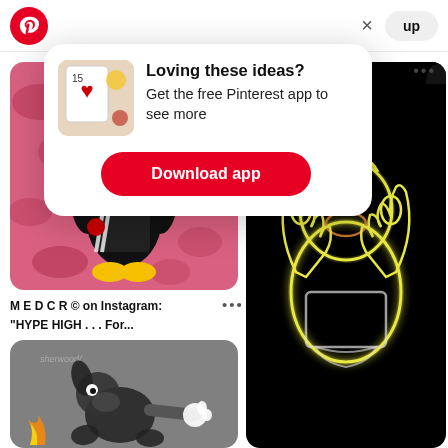[Figure (screenshot): Pinterest app top navigation bar with Pinterest logo (red circle with P), X close button, and 'up' button on the right]
[Figure (screenshot): Pinterest promotional popup card with thumbnail image, headline 'Loving these ideas? Get the free Pinterest app to see more', and a red 'Download app' button]
Loving these ideas?
Get the free Pinterest app to see more
Download app
[Figure (photo): Collectible figurine of Minions character dressed in black streetwear with Off-White stripes, on pink camouflage background]
M E D C R © on Instagram: "HYPE HIGH . . . For...
[Figure (photo): Black and white cartoon character illustration on gray background]
[Figure (photo): Neon light outline art of Homer Simpson giving middle fingers, glowing yellow-green on black background]